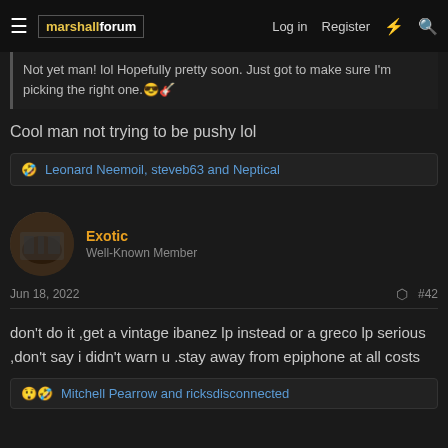marshallforum — Log in   Register
Not yet man! lol Hopefully pretty soon. Just got to make sure I'm picking the right one. 😎🎸
Cool man not trying to be pushy lol
🤣 Leonard Neemoil, steveb63 and Neptical
Exotic
Well-Known Member
Jun 18, 2022   #42
don't do it ,get a vintage ibanez lp instead or a greco lp serious ,don't say i didn't warn u .stay away from epiphone at all costs
😲🤣 Mitchell Pearrow and ricksdisconnected